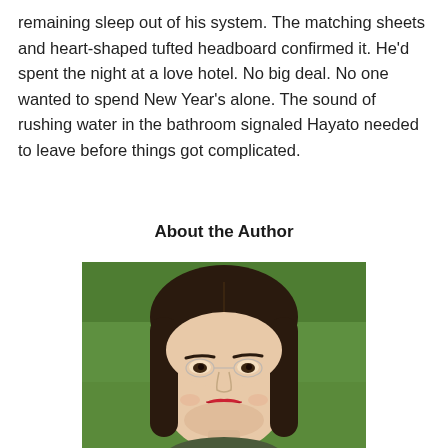remaining sleep out of his system. The matching sheets and heart-shaped tufted headboard confirmed it. He'd spent the night at a love hotel. No big deal. No one wanted to spend New Year's alone. The sound of rushing water in the bathroom signaled Hayato needed to leave before things got complicated.
About the Author
[Figure (photo): Portrait photo of a young woman with long dark hair parted in the middle, wearing rimless glasses and red lipstick, smiling slightly, with a green grassy background.]